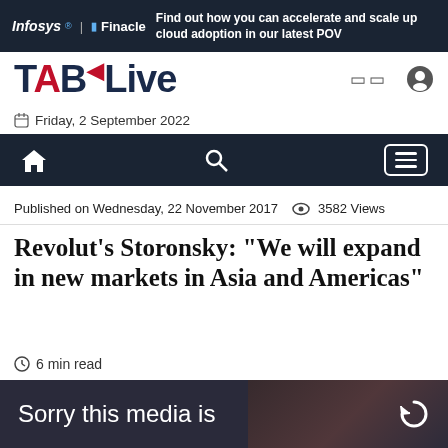[Figure (screenshot): Infosys Finacle advertisement banner: dark navy background with Infosys | Finacle logo and text 'Find out how you can accelerate and scale up cloud adoption in our latest POV']
[Figure (logo): TABLive website logo — TAB in dark with a red flag on the A, 'Live' in dark text. Navigation icons (grid and user icon) to the right.]
Friday, 2 September 2022
[Figure (screenshot): Dark navigation bar with home icon, search icon, and hamburger menu icon]
Published on Wednesday, 22 November 2017   3582 Views
Revolut's Storonsky: "We will expand in new markets in Asia and Americas"
6 min read
[Figure (photo): Dark background video/photo placeholder showing 'Sorry this media is' text with a refresh icon on the right]